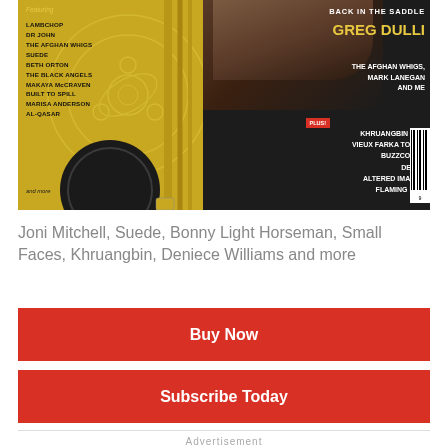[Figure (photo): Magazine cover showing a music publication. Left side has golden/yellow background with reel-to-reel tape graphic and artist names including Lambchop, Dr John, The Afghan Whigs, Suede, Beth Orton, The Black Angels, Makaya McCraven, Built to Spill, Marisa Anderson, Al-Qasar. Right side shows Greg Dulli interview feature 'Back in the Saddle', plus mentions of Khruangbin and Vieux Farka Touré, Buzzcocks, Dexys, Altered Images, Flaming Lips.]
Joni Mitchell, Suede, Bonny Light Horseman, Small Faces, Khruangbin, Deniece Williams and more
Buy Now
Subscribe Today
Advertisement